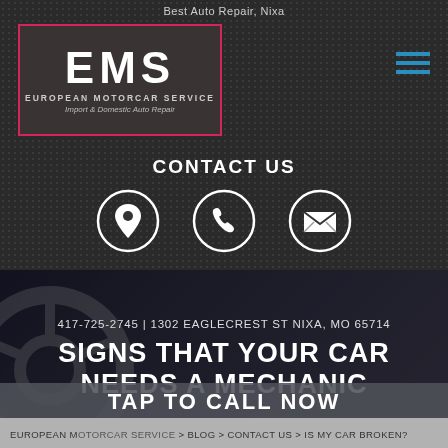Best Auto Repair, Nixa
[Figure (logo): EMS European Motorcar Service logo with pink/red border on dark background. Text: EMS, EUROPEAN MOTORCAR SERVICE, Import & Domestic Auto Repair]
CONTACT US
[Figure (infographic): Three circular icon buttons: location pin, phone, envelope/email]
417-725-2745 | 1302 EAGLECREST ST NIXA, MO 65714
SIGNS THAT YOUR CAR NEEDS A MECHANIC
TAP TO CALL NOW
417-725-2745
EUROPEAN M... > BLOG > CONTACT US > IS MY CAR BROKEN?